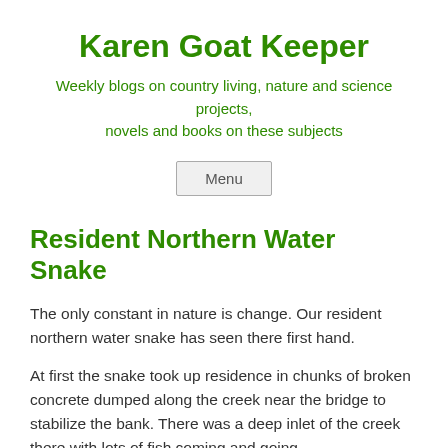Karen Goat Keeper
Weekly blogs on country living, nature and science projects, novels and books on these subjects
Menu
Resident Northern Water Snake
The only constant in nature is change. Our resident northern water snake has seen there first hand.
At first the snake took up residence in chunks of broken concrete dumped along the creek near the bridge to stabilize the bank. There was a deep inlet of the creek there with lots of fish coming and going.